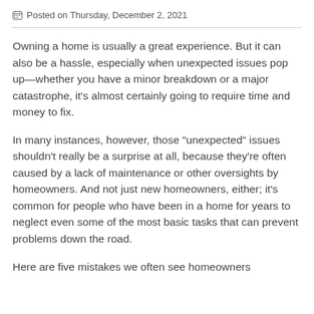Posted on Thursday, December 2, 2021
Owning a home is usually a great experience. But it can also be a hassle, especially when unexpected issues pop up—whether you have a minor breakdown or a major catastrophe, it’s almost certainly going to require time and money to fix.
In many instances, however, those “unexpected” issues shouldn’t really be a surprise at all, because they’re often caused by a lack of maintenance or other oversights by homeowners. And not just new homeowners, either; it’s common for people who have been in a home for years to neglect even some of the most basic tasks that can prevent problems down the road.
Here are five mistakes we often see homeowners